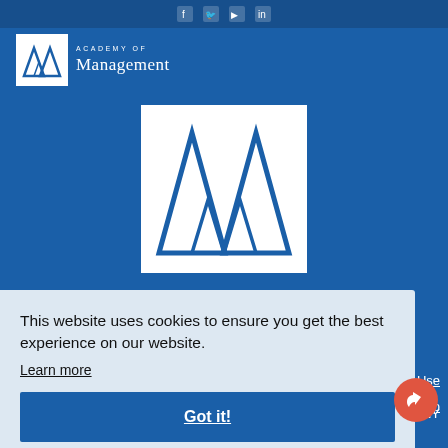[Figure (logo): Academy of Management logo in top left header - white box with stylized M mountains and text ACADEMY OF Management]
[Figure (logo): Large Academy of Management logo centered - white box with large blue stylized M mountains icon]
ACADEMY OF
Management
This website uses cookies to ensure you get the best experience on our website.
Learn more
Got it!
Use
emap
r, NY
©2021 Academy of Management